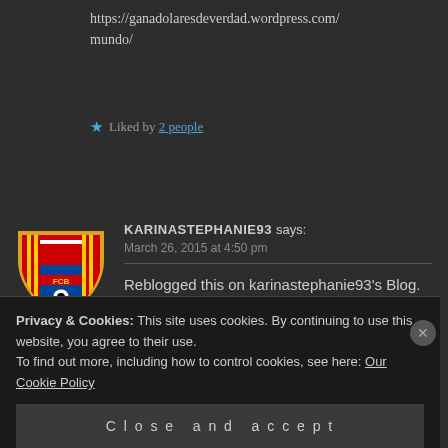https://ganadolaresdeverdad.wordpress.com/mundo/
★ Liked by 2 people
[Figure (logo): FC Barcelona shield/crest logo with red and blue stripes, gold border, FCB letters]
KARINASTEPHANIE93 says: March 26, 2015 at 4:50 pm
Reblogged this on karinastephanie93's Blog.
Privacy & Cookies: This site uses cookies. By continuing to use this website, you agree to their use. To find out more, including how to control cookies, see here: Our Cookie Policy
Close and accept